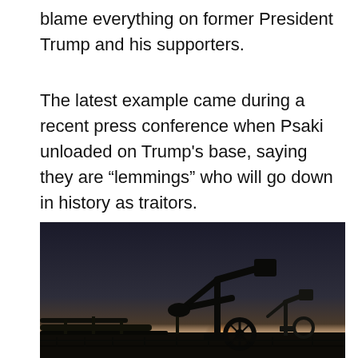blame everything on former President Trump and his supporters.
The latest example came during a recent press conference when Psaki unloaded on Trump’s base, saying they are “lemmings” who will go down in history as traitors.
[Figure (photo): Silhouette of an oil pump jack against a twilight sky with a faint orange glow near the horizon; pipelines visible in the lower left.]